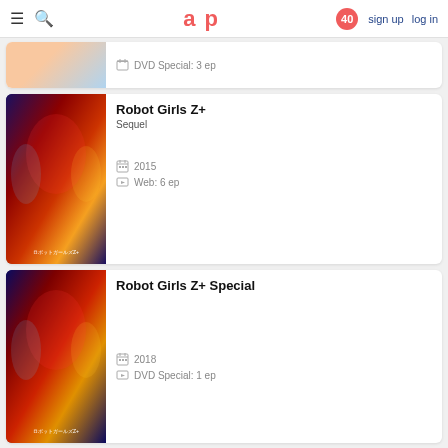aup | sign up  log in
[Figure (screenshot): Partial anime card showing DVD Special: 3 ep]
Robot Girls Z+
Sequel
2015
Web: 6 ep
Robot Girls Z+ Special
2018
DVD Special: 1 ep
Related manga